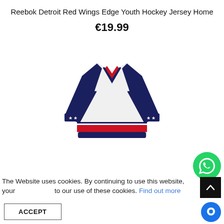Reebok Detroit Red Wings Edge Youth Hockey Jersey Home
€19.99
[Figure (photo): Reebok Detroit Red Wings Edge Youth Hockey Jersey Home — white jersey with navy blue sleeves, red and navy collar trim, red stripe at hem, white stars on navy cuffs]
The Website uses cookies. By continuing to use this website, your [consent to] our use of these cookies. Find out more
ACCEPT